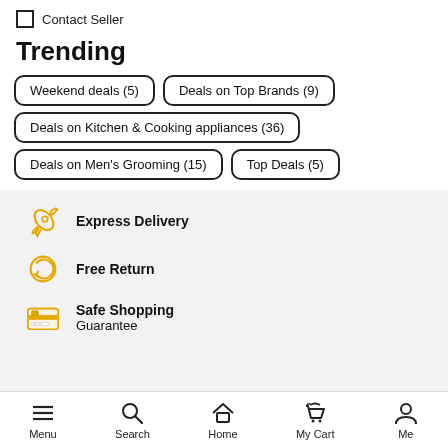Contact Seller
Trending
Weekend deals (5)
Deals on Top Brands (9)
Deals on Kitchen & Cooking appliances (36)
Deals on Men's Grooming (15)
Top Deals (5)
Express Delivery
Free Return
Safe Shopping
Guarantee
Menu  Search  Home  My Cart  Me